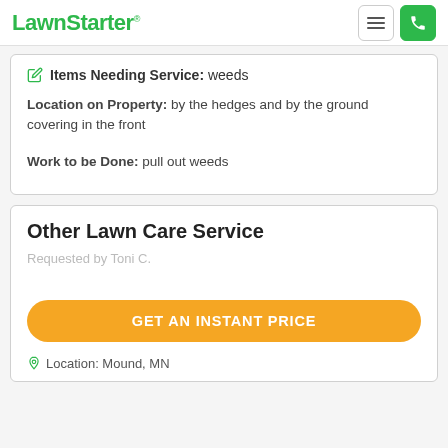LawnStarter
Items Needing Service: weeds
Location on Property: by the hedges and by the ground covering in the front
Work to be Done: pull out weeds
Other Lawn Care Service
Requested by Toni C.
GET AN INSTANT PRICE
Location: Mound, MN